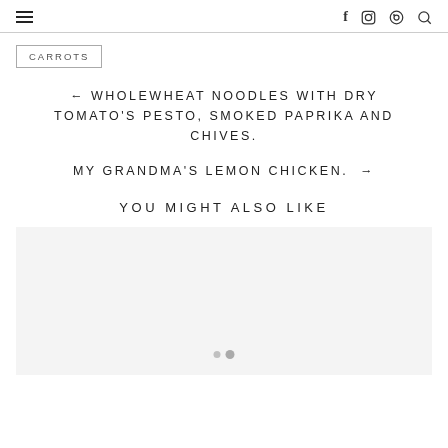≡   f  ⊙  ⓟ  🔍
CARROTS
← WHOLEWHEAT NOODLES WITH DRY TOMATO'S PESTO, SMOKED PAPRIKA AND CHIVES.
MY GRANDMA'S LEMON CHICKEN. →
YOU MIGHT ALSO LIKE
[Figure (photo): Loading image placeholder with light grey background and loading dots]